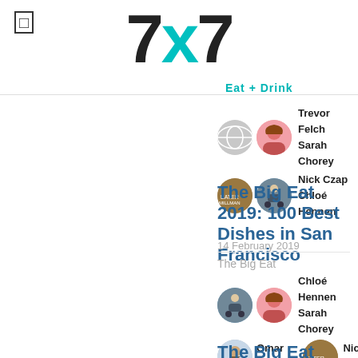7x7
Eat + Drink
Trevor Felch
Sarah Chorey
Nick Czap
Chloé Hennen
The Big Eat 2019: 100 Best Dishes in San Francisco
14 February 2019
The Big Eat
Chloé Hennen
Sarah Chorey
Omar Mamoon
Nick Czap
The Big Eat 2018: 100 Dishes to Devour in...